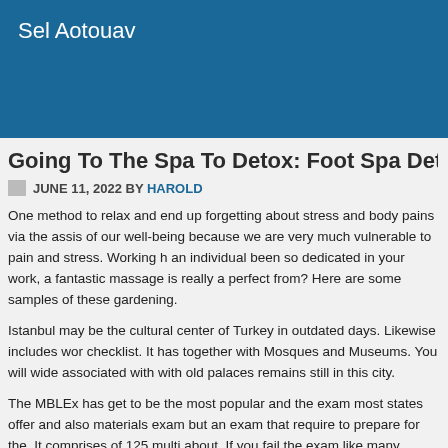Sel Aotouav
Going To The Spa To Detox: Foot Spa Detox: 3 Wa
JUNE 11, 2022 BY HAROLD
One method to relax and end up forgetting about stress and body pains via the assis of our well-being because we are very much vulnerable to pain and stress. Working h an individual been so dedicated in your work, a fantastic massage is really a perfect from? Here are some samples of these gardening.
Istanbul may be the cultural center of Turkey in outdated days. Likewise includes wor checklist. It has together with Mosques and Museums. You will wide associated with with old palaces remains still in this city.
The MBLEx has get to be the most popular and the exam most states offer and also materials exam but an exam that require to prepare for the. It comprises of 125 multi about. If you fail the exam like many unprepared students do, you have to pay whole at 300 and ending at nine hundred. A passing score of 630 is needed be licensed to c